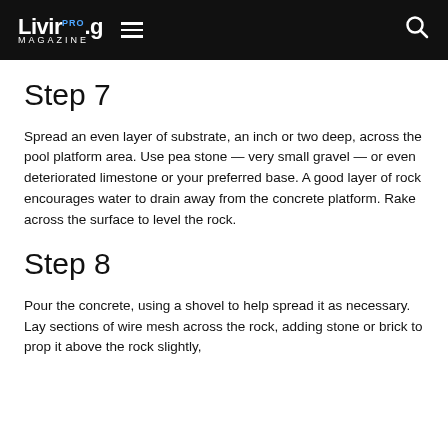Living.PRO MAGAZINE
Step 7
Spread an even layer of substrate, an inch or two deep, across the pool platform area. Use pea stone — very small gravel — or even deteriorated limestone or your preferred base. A good layer of rock encourages water to drain away from the concrete platform. Rake across the surface to level the rock.
Step 8
Pour the concrete, using a shovel to help spread it as necessary. Lay sections of wire mesh across the rock, adding stone or brick to prop it above the rock slightly,